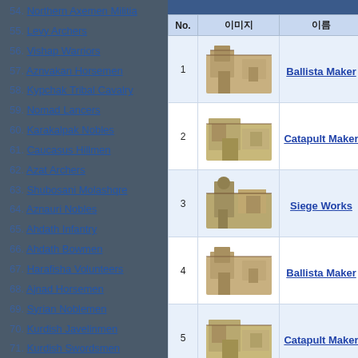54. Northern Axemen Militia
55. Levy Archers
56. Vishap Warriors
57. Aznvakan Horsemen
58. Kypchak Tribal Cavalry
59. Nomad Lancers
60. Karakalpak Nobles
61. Caucasus Hillmen
62. Azat Archers
63. Shubosani Molashqre
64. Aznauri Nobles
65. Ahdath Infantry
66. Ahdath Bowmen
67. Harafisha Volunteers
68. Ajnad Horsemen
69. Syrian Noblemen
70. Kurdish Javelinmen
71. Kurdish Swordsmen
72. Kurdish Peshmerga
73. Bedouin Camel Riders
74. Arabian Shiekhs
75. Nuristani Tribesmen
76. Iranian Archers
77. ...
| No. | 이미지 | 이름 |  |
| --- | --- | --- | --- |
| 1 | [Ballista Maker image] | Ballista Maker | A Ba... |
| 2 | [Catapult Maker image] | Catapult Maker | A Ca... |
| 3 | [Siege Works image] | Siege Works | A Sie... |
| 4 | [Ballista Maker image] | Ballista Maker | A Ba... |
| 5 | [Catapult Maker image] | Catapult Maker | A Ca... |
| 6 | [Siege Works image] | Siege Works | A Sie... |